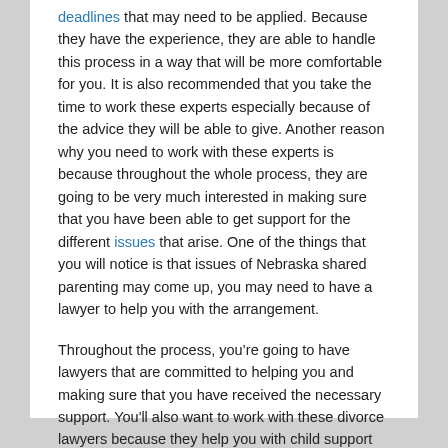deadlines that may need to be applied. Because they have the experience, they are able to handle this process in a way that will be more comfortable for you. It is also recommended that you take the time to work these experts especially because of the advice they will be able to give. Another reason why you need to work with these experts is because throughout the whole process, they are going to be very much interested in making sure that you have been able to get support for the different issues that arise. One of the things that you will notice is that issues of Nebraska shared parenting may come up, you may need to have a lawyer to help you with the arrangement.
Throughout the process, you’re going to have lawyers that are committed to helping you and making sure that you have received the necessary support. You'll also want to work with these divorce lawyers because they help you with child support payments. If the case of estates division comes up, they will also be the best people to help you. Depending on the circumstances, they will also help you to manage the cost.